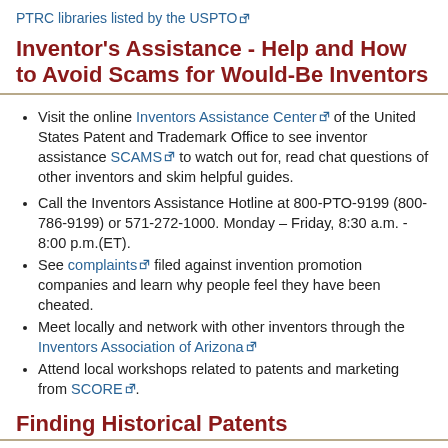PTRC libraries listed by the USPTO [ext link]
Inventor's Assistance - Help and How to Avoid Scams for Would-Be Inventors
Visit the online Inventors Assistance Center [ext link] of the United States Patent and Trademark Office to see inventor assistance SCAMS [ext link] to watch out for, read chat questions of other inventors and skim helpful guides.
Call the Inventors Assistance Hotline at 800-PTO-9199 (800-786-9199) or 571-272-1000. Monday – Friday, 8:30 a.m. - 8:00 p.m.(ET).
See complaints [ext link] filed against invention promotion companies and learn why people feel they have been cheated.
Meet locally and network with other inventors through the Inventors Association of Arizona [ext link]
Attend local workshops related to patents and marketing from SCORE [ext link].
Finding Historical Patents
Otherwise known as researching great uncle's wacky inventions, searching for inventors, or checking out patents from a history perspective: